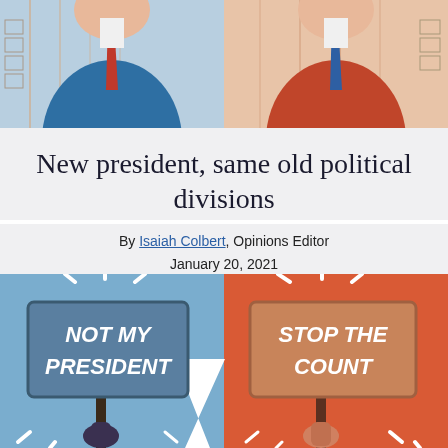[Figure (illustration): Top portion of an illustration showing two figures in suits facing each other — one in a blue suit on the left, one in an orange/red suit on the right, with architectural/city background elements.]
New president, same old political divisions
By Isaiah Colbert, Opinions Editor
January 20, 2021
[Figure (illustration): Split illustration: left half (blue background) shows a hand holding a sign reading 'NOT MY PRESIDENT'; right half (orange/red background) shows a hand holding a sign reading 'STOP THE COUNT'. A white lightning bolt divides the two halves.]